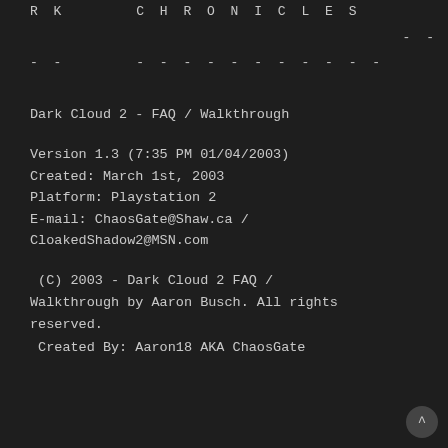RK   CHRONICLES
- -                                        - -
- -      - - - - - - - - - - -
Dark Cloud 2 - FAQ / Walkthrough
Version 1.3 (7:35 PM 01/04/2003)
Created: March 1st, 2003
Platform: Playstation 2
E-mail: ChaosGate@Shaw.ca / CloakedShadow2@MSN.com
(C) 2003 - Dark Cloud 2 FAQ / Walkthrough by Aaron Busch. All rights reserved.
Created By: Aaron18 AKA ChaosGate